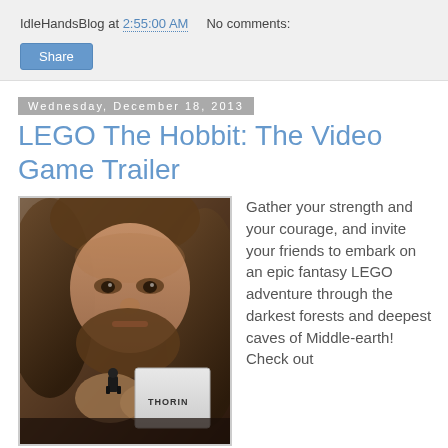IdleHandsBlog at 2:55:00 AM   No comments:
Share
Wednesday, December 18, 2013
LEGO The Hobbit: The Video Game Trailer
[Figure (photo): A man with long hair closely examining a small LEGO minifigure held near a white box labeled 'THORIN']
Gather your strength and your courage, and invite your friends to embark on an epic fantasy LEGO adventure through the darkest forests and deepest caves of Middle-earth! Check out